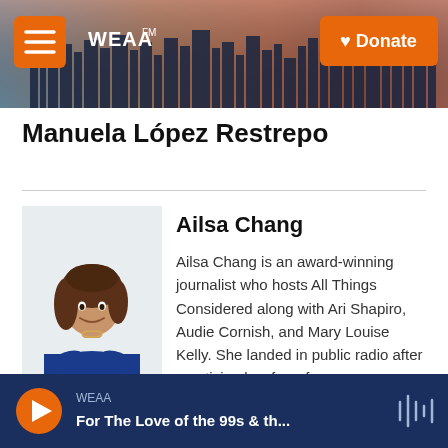[Figure (screenshot): WEAA radio station website header banner with city skyline background, orange menu button, WEAA FM logo in white, and orange Donate button]
Manuela López Restrepo
[Figure (photo): Photo of Ailsa Chang, a woman with brown hair wearing a blue top, arms crossed, smiling]
Ailsa Chang
Ailsa Chang is an award-winning journalist who hosts All Things Considered along with Ari Shapiro, Audie Cornish, and Mary Louise Kelly. She landed in public radio after practicing law for a few years.
WEAA — For The Love of the 99s & th...